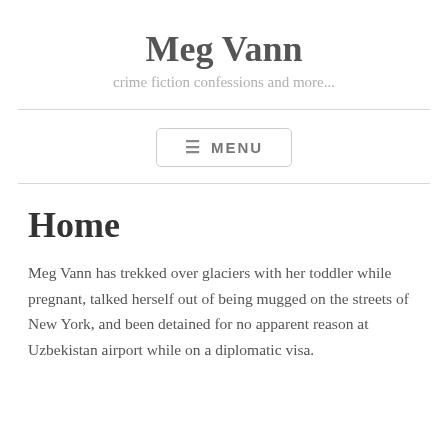Meg Vann
crime fiction confessions and more...
≡ MENU
Home
Meg Vann has trekked over glaciers with her toddler while pregnant, talked herself out of being mugged on the streets of New York, and been detained for no apparent reason at Uzbekistan airport while on a diplomatic visa.